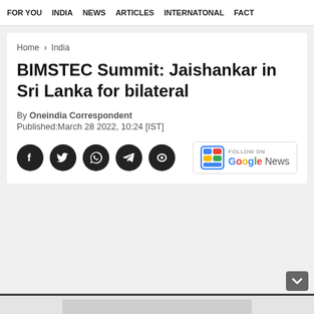FOR YOU   INDIA   NEWS   ARTICLES   INTERNATONAL   FACT
Home > India
BIMSTEC Summit: Jaishankar in Sri Lanka for bilateral
By Oneindia Correspondent
Published:March 28 2022, 10:24 [IST]
[Figure (infographic): Social media share icons (Facebook, Twitter, WhatsApp, Telegram, Koo) and Follow on Google News badge]
[Figure (infographic): Gray content area with chevron down button and advertisement bar at bottom]